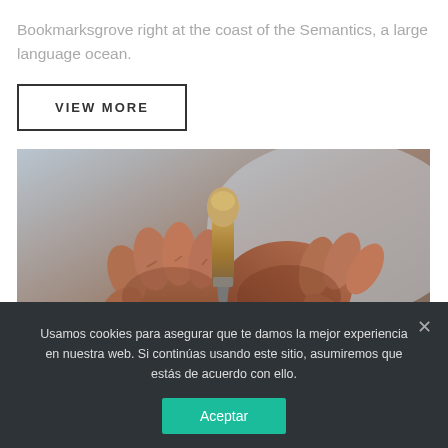Bookmarksgrove right at the coast of the Semantics, a large language ocean.
VIEW MORE
[Figure (photo): Close-up of weathered hands gripping a wooden carving tool over a piece of wood, craft/artisan theme.]
Usamos cookies para asegurar que te damos la mejor experiencia en nuestra web. Si continúas usando este sitio, asumiremos que estás de acuerdo con ello.
Aceptar